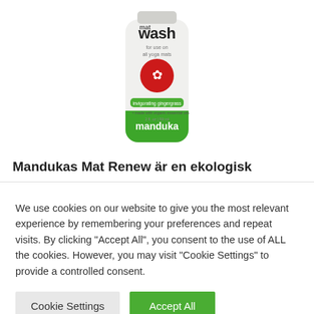[Figure (photo): Manduka mat wash bottle product photo showing a white bottle with green label and red logo, 'mat wash' text at top, 'for use on all yoga mats', 'invigorating gingergrass' scent, and manduka branding at bottom]
Mandukas Mat Renew är en ekologisk
We use cookies on our website to give you the most relevant experience by remembering your preferences and repeat visits. By clicking "Accept All", you consent to the use of ALL the cookies. However, you may visit "Cookie Settings" to provide a controlled consent.
Cookie Settings | Accept All